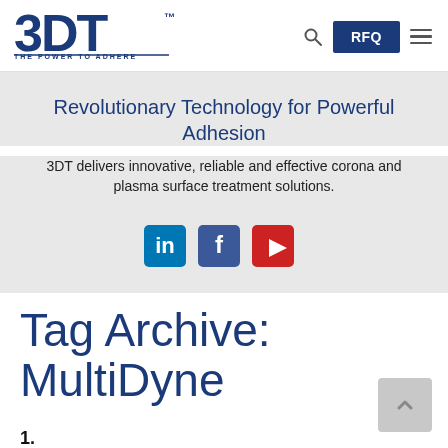3DT™ — THE POWER TO ADHERE | RFQ
Revolutionary Technology for Powerful Adhesion
3DT delivers innovative, reliable and effective corona and plasma surface treatment solutions.
[Figure (infographic): Social media icons: LinkedIn, Facebook, YouTube]
Tag Archive: MultiDyne
1.
Principle of the MultiDyne: Gliding Arc